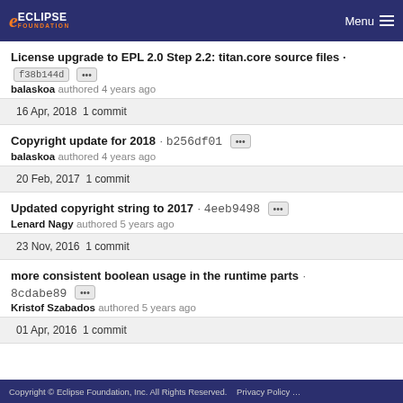Eclipse Foundation  Menu
License upgrade to EPL 2.0 Step 2.2: titan.core source files · f38b144d
balaskoa authored 4 years ago
16 Apr, 2018  1 commit
Copyright update for 2018 · b256df01
balaskoa authored 4 years ago
20 Feb, 2017  1 commit
Updated copyright string to 2017 · 4eeb9498
Lenard Nagy authored 5 years ago
23 Nov, 2016  1 commit
more consistent boolean usage in the runtime parts · 8cdabe89
Kristof Szabados authored 5 years ago
01 Apr, 2016  1 commit
Copyright © Eclipse Foundation, Inc. All Rights Reserved.    Privacy Policy …